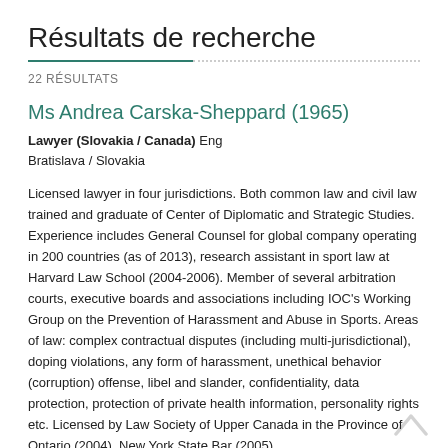Résultats de recherche
22 RÉSULTATS
Ms Andrea Carska-Sheppard (1965)
Lawyer (Slovakia / Canada) Eng
Bratislava / Slovakia
Licensed lawyer in four jurisdictions. Both common law and civil law trained and graduate of Center of Diplomatic and Strategic Studies. Experience includes General Counsel for global company operating in 200 countries (as of 2013), research assistant in sport law at Harvard Law School (2004-2006). Member of several arbitration courts, executive boards and associations including IOC's Working Group on the Prevention of Harassment and Abuse in Sports. Areas of law: complex contractual disputes (including multi-jurisdictional), doping violations, any form of harassment, unethical behavior (corruption) offense, libel and slander, confidentiality, data protection, protection of private health information, personality rights etc. Licensed by Law Society of Upper Canada in the Province of Ontario (2004), New York State Bar (2005), as a Solicitor of the Law Society of England and Wales